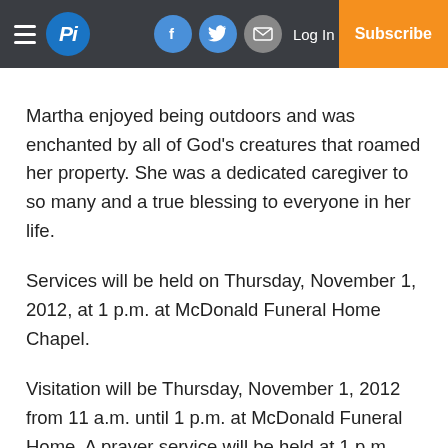Pi — Log In | Subscribe
Martha enjoyed being outdoors and was enchanted by all of God's creatures that roamed her property. She was a dedicated caregiver to so many and a true blessing to everyone in her life.
Services will be held on Thursday, November 1, 2012, at 1 p.m. at McDonald Funeral Home Chapel.
Visitation will be Thursday, November 1, 2012 from 11 a.m. until 1 p.m. at McDonald Funeral Home. A prayer service will be held at 1 p.m.